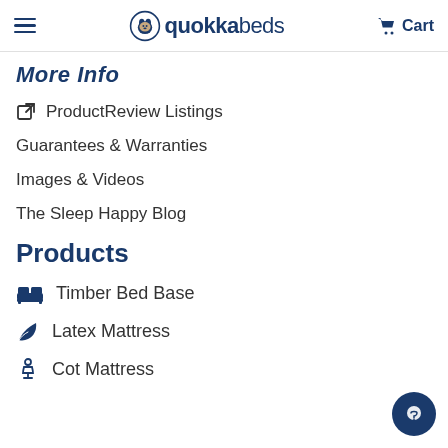quokkabeds — Cart
More Info
ProductReview Listings
Guarantees & Warranties
Images & Videos
The Sleep Happy Blog
Products
Timber Bed Base
Latex Mattress
Cot Mattress